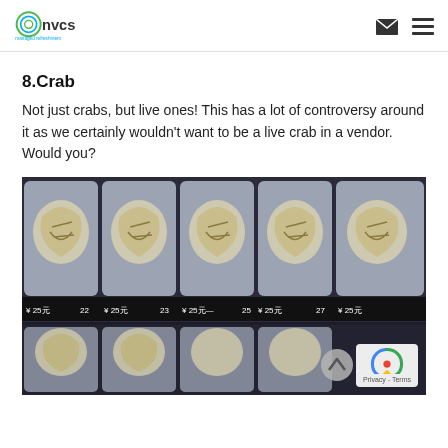nvcs managed refreshment
8.Crab
Not just crabs, but live ones! This has a lot of controversy around it as we certainly wouldn't want to be a live crab in a vendor. Would you?
[Figure (photo): Photo of a vending machine stocked with live crabs in plastic packaging, price labels showing ¥25元, row numbers 22-27 visible]